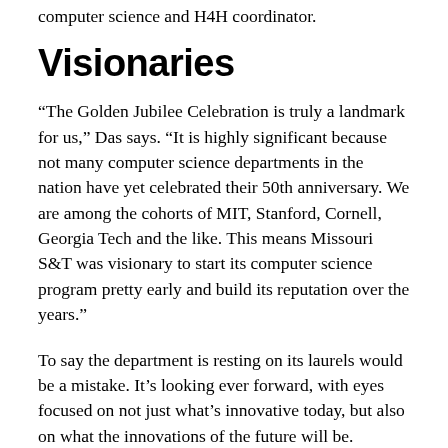computer science and H4H coordinator.
Visionaries
“The Golden Jubilee Celebration is truly a landmark for us,” Das says. “It is highly significant because not many computer science departments in the nation have yet celebrated their 50th anniversary. We are among the cohorts of MIT, Stanford, Cornell, Georgia Tech and the like. This means Missouri S&T was visionary to start its computer science program pretty early and build its reputation over the years.”
To say the department is resting on its laurels would be a mistake. It’s looking ever forward, with eyes focused on not just what’s innovative today, but also on what the innovations of the future will be.